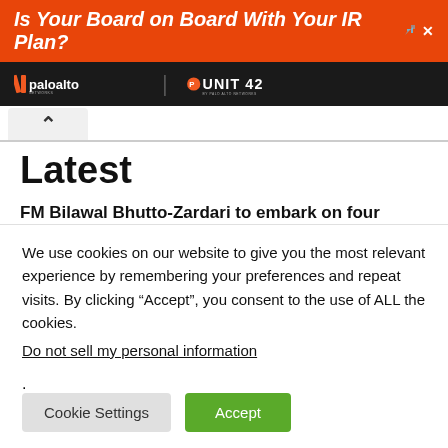[Figure (screenshot): Orange advertisement banner reading 'Is Your Board on Board With Your IR Plan?' with close/arrow icons in top right]
[Figure (logo): Black sponsor bar with Palo Alto Networks and Unit 42 logos in white]
^
Latest
FM Bilawal Bhutto-Zardari to embark on four country trip from August 22-26
August 20, 2022
'I lost my fiance': Israeli assault ends wedding plans in Gaza
We use cookies on our website to give you the most relevant experience by remembering your preferences and repeat visits. By clicking “Accept”, you consent to the use of ALL the cookies.
Do not sell my personal information.